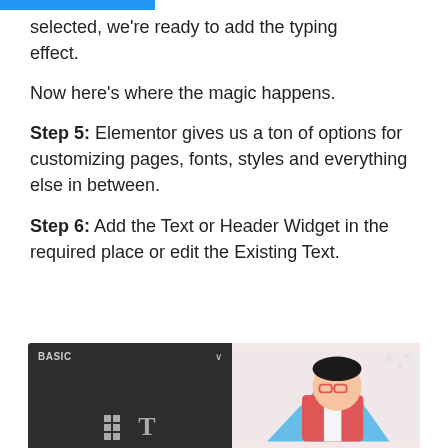With Edit with Elementor selected, we're ready to add the typing effect.
Now here's where the magic happens.
Step 5: Elementor gives us a ton of options for customizing pages, fonts, styles and everything else in between.
Step 6: Add the Text or Header Widget in the required place or edit the Existing Text.
[Figure (screenshot): Screenshot of Elementor editor panel showing BASIC section with widget icons including a grid/columns widget and a Text widget (T icon), alongside an illustration of a person wearing glasses and red jacket]